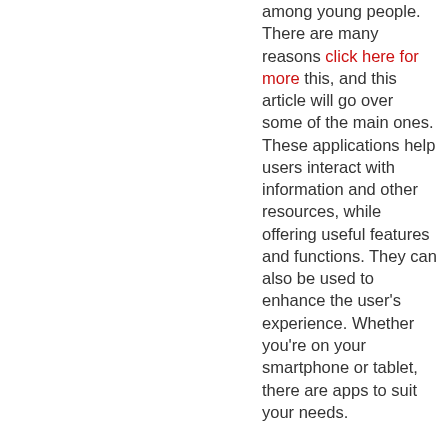among young people. There are many reasons click here for more this, and this article will go over some of the main ones. These applications help users interact with information and other resources, while offering useful features and functions. They can also be used to enhance the user's experience. Whether you're on your smartphone or tablet, there are apps to suit your needs.

Apps were originally developed for